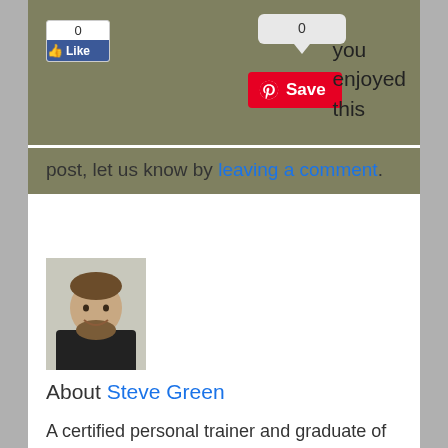[Figure (screenshot): Social media widget area with Facebook Like button (0 likes), comment bubble (0), Pinterest Save button, and partial text about enjoying a post]
you enjoyed this post, let us know by leaving a comment.
[Figure (photo): Headshot of a young man with short hair and beard wearing a black shirt, smiling]
About Steve Green
A certified personal trainer and graduate of Northwestern University (M.A. in Sport Adminstration), Steve is resident fitness expert and music snob of JustAGuy. In addition to fitness and music, Steve also